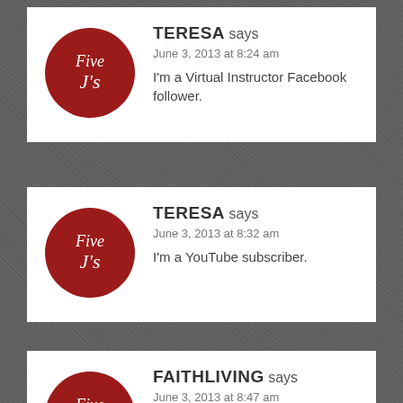[Figure (other): Comment card 1: Avatar logo (Five J's red circle) with TERESA comment dated June 3, 2013 at 8:24 am saying 'I'm a Virtual Instructor Facebook follower.']
[Figure (other): Comment card 2: Avatar logo (Five J's red circle) with TERESA comment dated June 3, 2013 at 8:32 am saying 'I'm a YouTube subscriber.']
[Figure (other): Comment card 3: Avatar logo (Five J's red circle) with FAITHLIVING comment dated June 3, 2013 at 8:47 am saying 'I shared this post on facebook.']